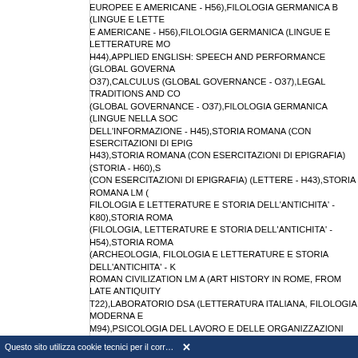EUROPEE E AMERICANE - H56),FILOLOGIA GERMANICA B (LINGUE E LETTERATURE EUROPEE E AMERICANE - H56),FILOLOGIA GERMANICA (LINGUE E LETTERATURE MODERNE - H44),APPLIED ENGLISH: SPEECH AND PERFORMANCE (GLOBAL GOVERNANCE - O37),CALCULUS (GLOBAL GOVERNANCE - O37),LEGAL TRADITIONS AND COMPARATIVE LAW (GLOBAL GOVERNANCE - O37),FILOLOGIA GERMANICA (LINGUE NELLA SOCIETA' DELL'INFORMAZIONE - H45),STORIA ROMANA (CON ESERCITAZIONI DI EPIGRAFIA) (LETTERE - H43),STORIA ROMANA (CON ESERCITAZIONI DI EPIGRAFIA) (STORIA - H60),STORIA ROMANA (CON ESERCITAZIONI DI EPIGRAFIA) (LETTERE - H43),STORIA ROMANA LM (FILOLOGIA E LETTERATURE E STORIA DELL'ANTICHITA' - K80),STORIA ROMANA LM (FILOLOGIA, LETTERATURE E STORIA DELL'ANTICHITA' - H54),STORIA ROMANA LM (ARCHEOLOGIA, FILOLOGIA E LETTERATURE E STORIA DELL'ANTICHITA' - K80),ROMAN CIVILIZATION LM A (ART HISTORY IN ROME, FROM LATE ANTIQUITY TO THE PRESENT - T22),LABORATORIO DSA (LETTERATURA ITALIANA, FILOLOGIA MODERNA E LINGUISTICA - M94),PSICOLOGIA DEL LAVORO E DELLE ORGANIZZAZIONI (DIRIGENZA E CONSULENZA DEI SERVIZI FORMATIVI SCOLASTICI E SOCIO-EDUCATIVI - L48),HISTORY OF CLASSICAL ARCHAEOLOGY: COLLECTIONS, MUSEUMS AND CONSERVATION OF CULTURAL HERITAGE (TOURISM STRATEGY, CULTURAL HERITAGE AND MADE IN ITALY - V91),ARCHAEOLOGY OF ROMAN EMPIRE LM A (ART HISTORY IN ROME, FROM LATE ANTIQUITY TO THE PRESENT - T22),INTRODUZIONE ALLA RICERCA EDUCATIVA E VALUTATIVA (FILOSOFIA - ...),DIRITTO PER IL TURISMO (SCIENZE DEL TURISMO - L86),STORIA DEL DIRITTO MEDIEVALE E MODERNO (SCIENZE DELLA STORIA E DEL DOCUMENTO - M96),LINEAMENTI DI DIRITTO PRIVATO (SCIENZE DELL'EDUCAZIONE E DELLA FORMAZIONE - O45),BUSINESS PLAN AND COMMUNICATION ELEMENTS FOR ITALIAN TOURISM MARKET (TOURISM STRATEGY, CULTURAL HERITAGE AND MADE IN ITALY - V91),SISTEMI DI DISTRIBUZIONE TURISTICA (SCIENZE DEL TURISMO - L86),BUSINESS PLAN LM (PROGETTAZIONE E GESTIONE DEI SISTEMI TURISTICI - H58),LINEAMENTI DI DIRITTO PRIVATO LM (PROGETTAZIONE E GESTIONE DEI SISTEMI TURISTICI - H58),LABORATORIO PROPEDEUTICO DI GRECO A (LETTERE - H43),FILOLOGIA E STORIA BIZANTINA LM (STORIA - H60),FILOLOGIA E STORIA BIZANTINA (LETTERATURA ITALIANA, FILOLOGIA MODERNA E LINGUISTICA - H53),FILOLOGIA E STORIA BIZANTINA (STORIA - H60),EARLY MODERN ART LM A+B (ART HISTORY IN ROME, FROM LATE ANTIQUITY TO THE PRESENT - T22),STORIA GRECA LM (FILOLOGIA, LETTERATURE E STORIA DELL'ANTICHITA' - H54),STORIA GRECA B (LETTERE - H43),ELECTRICAL NETWORKS (ENGINEERING SCIENCES - K73),ROMAN ARCHAEOLOGY (TOURISM STRATEGY, CULTURAL HERITAGE AND MADE IN ITALY - V91),LAW AND ECONOMICS (ECONOMICS - ...),HISTORY OF EUROPEAN INTEGRATION (EUROPEAN ECONOMY AND BUSINESS LAW - H75),LETTERATURA ITALIANA LM (LETTERATURA ITALIANA, FILOLOGIA MODERNA E LINGUISTICA - M94),STORIA CONTEMPORANEA (LETTERE - H43),LABORATO...
Questo sito utilizza cookie tecnici per il corretto funzionamento delle pagine web e per ...